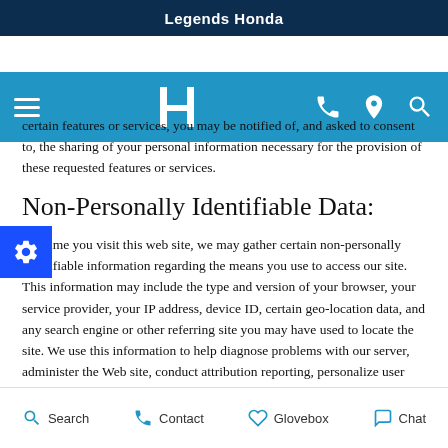Legends Honda
[Figure (screenshot): Blue navigation bar with hamburger menu, Honda logo, phone icon, location pin icon, and search icon on a blue background]
certain features or services, you may be notified of, and asked to consent to, the sharing of your personal information necessary for the provision of these requested features or services.
Non-Personally Identifiable Data:
Anytime you visit this web site, we may gather certain non-personally identifiable information regarding the means you use to access our site. This information may include the type and version of your browser, your service provider, your IP address, device ID, certain geo-location data, and any search engine or other referring site you may have used to locate the site. We use this information to help diagnose problems with our server, administer the Web site, conduct attribution reporting, personalize user experiences (including certain targeted features or advertising), and compile broad statistical data. In addition, we may share certain non-identifying information about...
Search   Contact   Glovebox   Chat